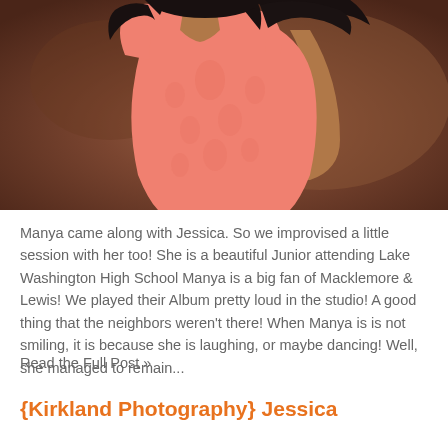[Figure (photo): Young woman wearing a coral/salmon lace dress with dark flowing hair, hand on hip, photographed against a warm brown/reddish background. Portrait-style photo cropped at torso.]
Manya came along with Jessica. So we improvised a little session with her too! She is a beautiful Junior attending Lake Washington High School Manya is a big fan of Macklemore & Lewis! We played their Album pretty loud in the studio! A good thing that the neighbors weren't there! When Manya is is not smiling, it is because she is laughing, or maybe dancing! Well, she managed to remain...
Read the Full Post »
{Kirkland Photography} Jessica